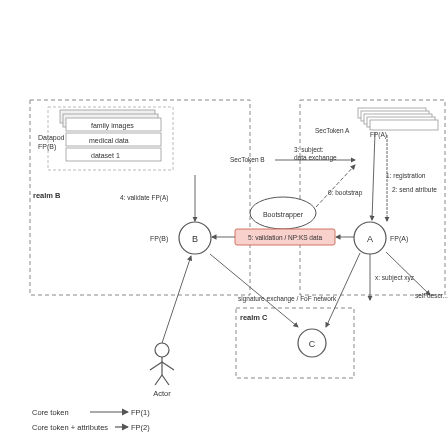[Figure (flowchart): Architecture diagram showing two realms (B and A) with nodes B, A, C (Bootstrapper), actors, Datapod with datasets, SecTokens, and labeled arrows indicating registration, data exchange, validation, bootstrap, signature exchange flows. Legend shows Core token -> FP(1) and Core token + attributes -> FP(2).]